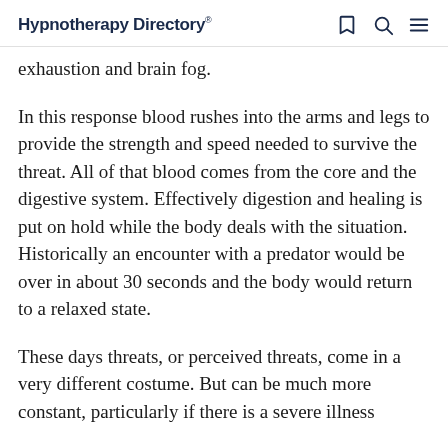Hypnotherapy Directory
exhaustion and brain fog.
In this response blood rushes into the arms and legs to provide the strength and speed needed to survive the threat. All of that blood comes from the core and the digestive system. Effectively digestion and healing is put on hold while the body deals with the situation. Historically an encounter with a predator would be over in about 30 seconds and the body would return to a relaxed state.
These days threats, or perceived threats, come in a very different costume. But can be much more constant, particularly if there is a severe illness